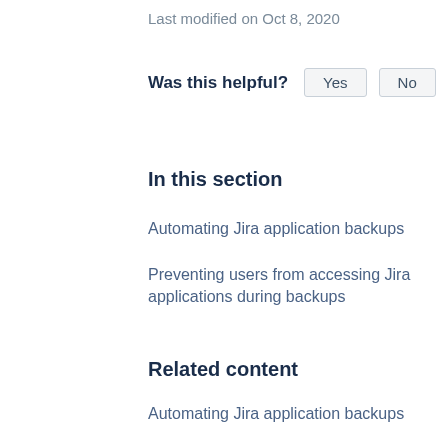Last modified on Oct 8, 2020
Was this helpful?  Yes  No
In this section
Automating Jira application backups
Preventing users from accessing Jira applications during backups
Related content
Automating Jira application backups
Restoring data from an xml backup
Exporting issues from Cloud to Server